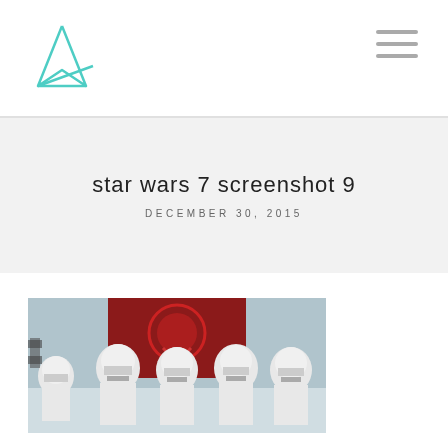star wars 7 screenshot 9
DECEMBER 30, 2015
[Figure (photo): Star Wars stormtroopers in white armor standing in formation in front of a red First Order banner with a circular emblem. Snow-covered scene.]